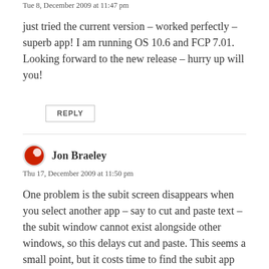Tue 8, December 2009 at 11:47 pm
just tried the current version – worked perfectly – superb app! I am running OS 10.6 and FCP 7.01. Looking forward to the new release – hurry up will you!
REPLY
Jon Braeley
Thu 17, December 2009 at 11:50 pm
One problem is the subit screen disappears when you select another app – say to cut and paste text – the subit window cannot exist alongside other windows, so this delays cut and paste. This seems a small point, but it costs time to find the subit app again.